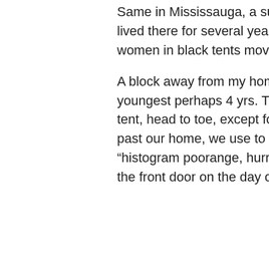Same in Mississauga, a suburb of Toronto where lot of Indians and Pakistanis live. I lived there for several years and it was routine to see men with a foot long beard and women in black tents moving around. Almost all of them Pakis.
A block away from my home lived a muslim family with 4 daughters, eldest 12 and youngest perhaps 4 yrs. They use to walk to the school which was close. All in black tent, head to toe, except for a slit to see. They were very punctual and seeing them go past our home, we use to remind ourselves to drop our kids. Our reminder use to be “histogram poorange, hurry up”. They were the same family who put a rude notice on the front door on the day of halloween